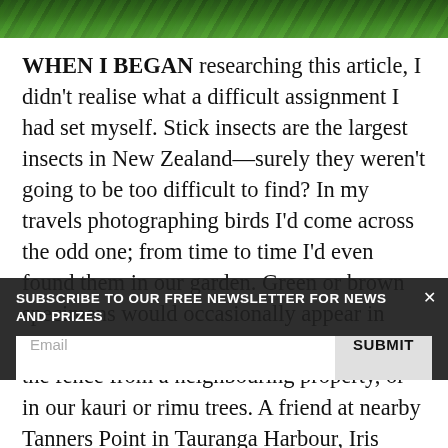[Figure (photo): Dark green foliage/leaves photo strip at top of page]
WHEN I BEGAN researching this article, I didn't realise what a difficult assignment I had set myself. Stick insects are the largest insects in New Zealand—surely they weren't going to be too difficult to find? In my travels photographing birds I'd come across the odd one; from time to time I'd even found them in our garden. Green or brown specimens would occasionally appear in summer on a Lawson cypress hanging over the fence from a neighbouring property, or in our kauri or rimu trees. A friend at nearby Tanners Point in Tauranga Harbour, Iris Waghorn, used to find them in some numbers on her property; Acanthoxyla on a gold Italian cypress and in a Cryptomeria hedge, and Clitarchus on manuka, kanuka and mikimiki bushes.
SUBSCRIBE TO OUR FREE NEWSLETTER FOR NEWS AND PRIZES
Email
SUBMIT